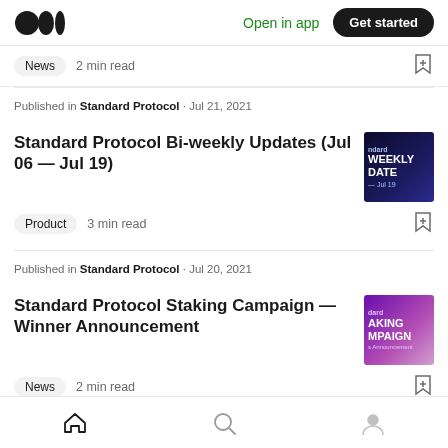Medium logo | Open in app | Get started
News · 2 min read
Published in Standard Protocol · Jul 21, 2021
Standard Protocol Bi-weekly Updates (Jul 06 — Jul 19)
Product · 3 min read
Published in Standard Protocol · Jul 20, 2021
Standard Protocol Staking Campaign — Winner Announcement
News · 2 min read
Home | Search | Profile